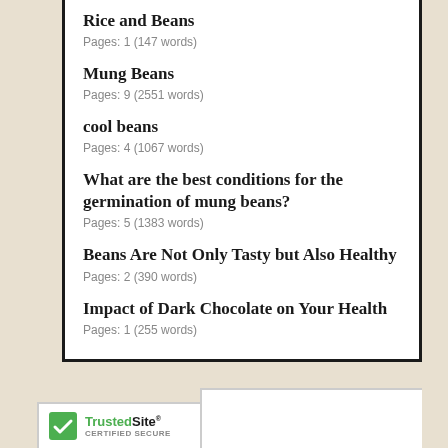Rice and Beans
Pages: 1 (147 words)
Mung Beans
Pages: 9 (2551 words)
cool beans
Pages: 4 (1067 words)
What are the best conditions for the germination of mung beans?
Pages: 5 (1383 words)
Beans Are Not Only Tasty but Also Healthy
Pages: 2 (390 words)
Impact of Dark Chocolate on Your Health
Pages: 1 (255 words)
[Figure (logo): TrustedSite Certified Secure badge with green checkmark icon]